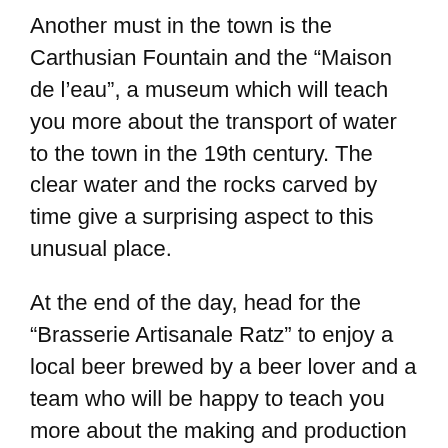Another must in the town is the Carthusian Fountain and the “Maison de l’eau”, a museum which will teach you more about the transport of water to the town in the 19th century. The clear water and the rocks carved by time give a surprising aspect to this unusual place.
At the end of the day, head for the “Brasserie Artisanale Ratz” to enjoy a local beer brewed by a beer lover and a team who will be happy to teach you more about the making and production of the beverage.
For those who do not like beer, you also have the possibility to go to the Villa Cahors Malbec for a commented tasting of the wines of the region and further information on the Cahors vineyards.